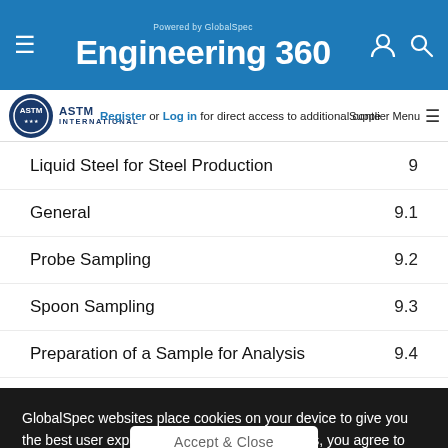Powered by GlobalSpec Engineering 360
Register or Log in for direct access to additional content   Supplier Menu
Liquid Steel for Steel Production   9
General   9.1
Probe Sampling   9.2
Spoon Sampling   9.3
Preparation of a Sample for Analysis   9.4
Sampling and Sample Preparation for the Determination   9.5
GlobalSpec websites place cookies on your device to give you the best user experience. By using our websites, you agree to the placement of these cookies. To learn more, read our Privacy Policy
Accept & Close